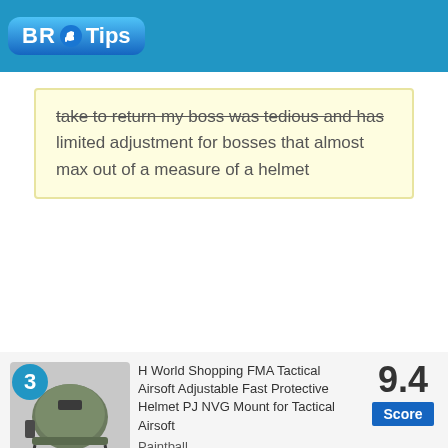BR Tips
take to return my boss was tedious and has limited adjustment for bosses that almost max out of a measure of a helmet
[Figure (photo): Product image of H World Shopping FMA Tactical Airsoft helmet with number 3 badge]
H World Shopping FMA Tactical Airsoft Adjustable Fast Protective Helmet PJ NVG Mount for Tactical Airsoft Paintball H
9.4 Score
Top Customer Reviews: H World Shopping ...
Rating: 4 out of 5 with 9 ratings